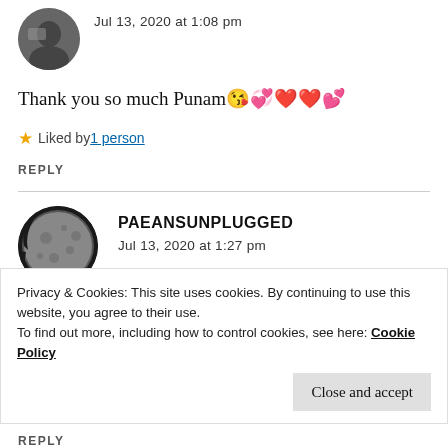Jul 13, 2020 at 1:08 pm
Thank you so much Punam😘💞❤️❤️💕
Liked by 1 person
REPLY
PAEANSUNPLUGGED
Jul 13, 2020 at 1:27 pm
Privacy & Cookies: This site uses cookies. By continuing to use this website, you agree to their use.
To find out more, including how to control cookies, see here: Cookie Policy
Close and accept
REPLY